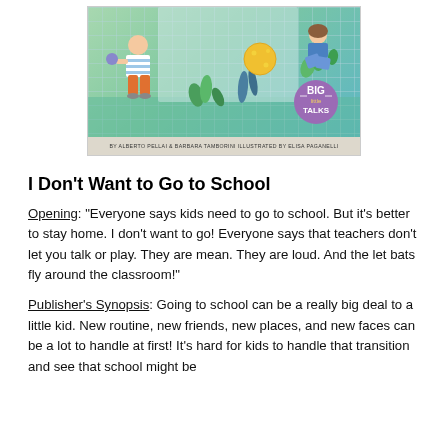[Figure (illustration): Book cover of 'I Don't Want to Go to School' from the Big Little Talks series by Alberto Pellai & Barbara Tamborini, illustrated by Elisa Paganelli. Shows cartoon children outdoors with plants, a yellow ball, and a grid-patterned wall background. The Big Little Talks logo appears as a purple circle badge.]
I Don't Want to Go to School
Opening: “Everyone says kids need to go to school. But it’s better to stay home. I don’t want to go! Everyone says that teachers don’t let you talk or play. They are mean. They are loud. And the let bats fly around the classroom!”
Publisher’s Synopsis: Going to school can be a really big deal to a little kid. New routine, new friends, new places, and new faces can be a lot to handle at first! It’s hard for kids to handle that transition and see that school might be